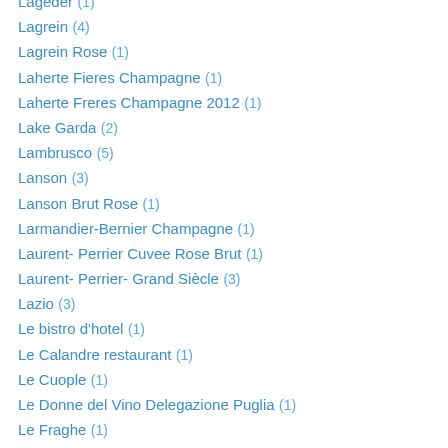Lageder (1)
Lagrein (4)
Lagrein Rose (1)
Laherte Fieres Champagne (1)
Laherte Freres Champagne 2012 (1)
Lake Garda (2)
Lambrusco (5)
Lanson (3)
Lanson Brut Rose (1)
Larmandier-Bernier Champagne (1)
Laurent- Perrier Cuvee Rose Brut (1)
Laurent- Perrier- Grand Siècle (3)
Lazio (3)
Le bistro d'hotel (1)
Le Calandre restaurant (1)
Le Cuople (1)
Le Donne del Vino Delegazione Puglia (1)
Le Fraghe (1)
Le Gros Minet (1)